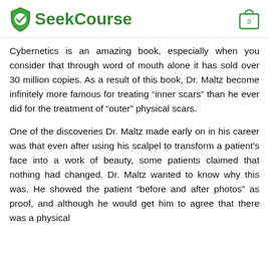SeekCourse
Cybernetics is an amazing book, especially when you consider that through word of mouth alone it has sold over 30 million copies. As a result of this book, Dr. Maltz become infinitely more famous for treating “inner scars” than he ever did for the treatment of “outer” physical scars.
One of the discoveries Dr. Maltz made early on in his career was that even after using his scalpel to transform a patient’s face into a work of beauty, some patients claimed that nothing had changed. Dr. Maltz wanted to know why this was. He showed the patient “before and after photos” as proof, and although he would get him to agree that there was a physical